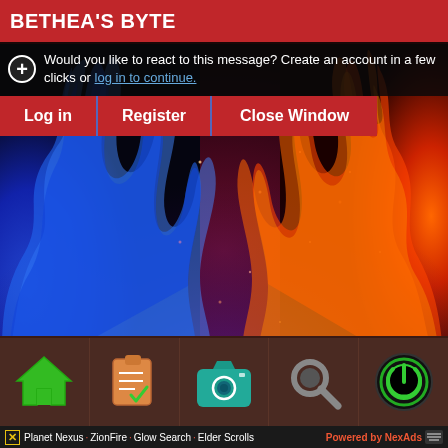BETHEA'S BYTE
Would you like to react to this message? Create an account in a few clicks or log in to continue.
Log in | Register | Close Window
[Figure (illustration): Blue and red flame/fire background image with blue flames on the left and orange-red flames on the right, dark red center with glowing sparks]
[Figure (infographic): Bottom navigation bar with 5 icons: green house/home icon, orange notepad/checklist icon, teal camera icon, gray magnifying glass/search icon, green power button icon]
Planet Nexus · ZionFire · Glow Search · Elder Scrolls   Powered by NexAds